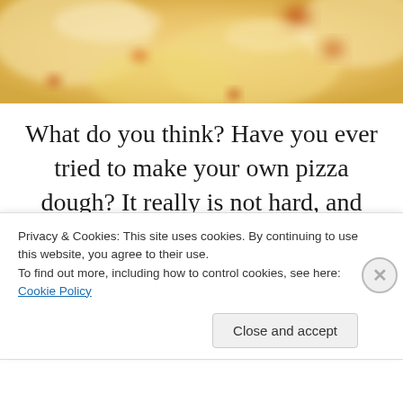[Figure (photo): Close-up photo of pizza showing melted cheese with golden and reddish-brown tones, partially cropped at the top]
What do you think? Have you ever tried to make your own pizza dough? It really is not hard, and heck can you really go wrong when you get to pick your toppings?  I love knowing what goes into my pizza, all the way down to the flour in the crust.
Privacy & Cookies: This site uses cookies. By continuing to use this website, you agree to their use.
To find out more, including how to control cookies, see here: Cookie Policy
Close and accept